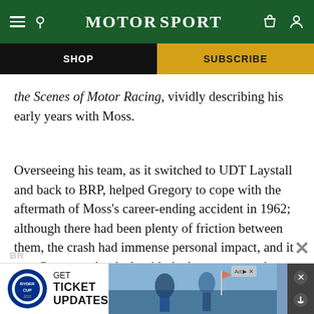MotorSport
SHOP | SUBSCRIBE
the Scenes of Motor Racing, vividly describing his early years with Moss.
Overseeing his team, as it switched to UDT Laystall and back to BRP, helped Gregory to cope with the aftermath of Moss’s career-ending accident in 1962; although there had been plenty of friction between them, the crash had immense personal impact, and it was Gregory who dealt with the huge press and public demands afterwards.
[Figure (screenshot): Ryder Cup advertisement banner at the bottom: GET TICKET UPDATES with Ryder Cup logo and photo of golfers]